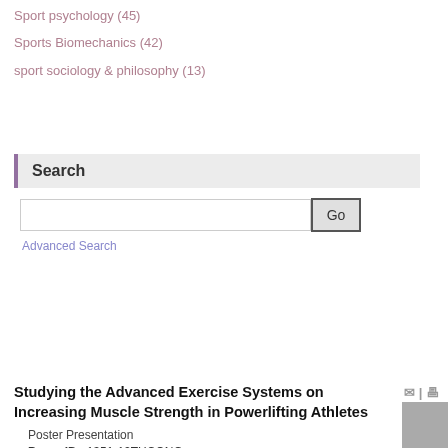Sport psychology (45)
Sports Biomechanics (42)
sport sociology & philosophy (13)
Search
Advanced Search
Studying the Advanced Exercise Systems on Increasing Muscle Strength in Powerlifting Athletes
Poster Presentation
Paper ID : 1351-12THCONG
Oral / Poster Presentation File: ⬇ پوستر پژوهشگاه تربیت بدنی.jpg
Authors
Amin Azimkhani  ; Hamid Moghavemi; Maryam Khorshahi
Department of Sport Sciences, Faculty of Humanities, Imam Reza International University, Mashhad, Iran
Abstract
Application of exercise systems on increasing muscle for...